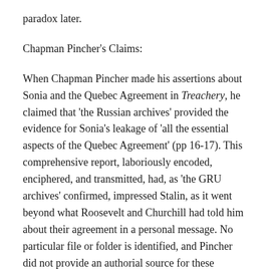paradox later.
Chapman Pincher's Claims:
When Chapman Pincher made his assertions about Sonia and the Quebec Agreement in Treachery, he claimed that 'the Russian archives' provided the evidence for Sonia's leakage of 'all the essential aspects of the Quebec Agreement' (pp 16-17). This comprehensive report, laboriously encoded, enciphered, and transmitted, had, as 'the GRU archives' confirmed, impressed Stalin, as it went beyond what Roosevelt and Churchill had told him about their agreement in a personal message. No particular file or folder is identified, and Pincher did not provide an authorial source for these claims, although he did state that Dr. Svetlana Chervonnaya had, in July 2011, discovered a document confirming